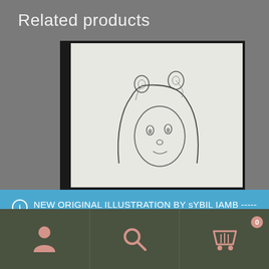Related products
[Figure (illustration): A pencil sketch of a person wearing a hoodie with small bear ears, viewed from slightly below, on white paper against a dark background.]
NEW ORIGINAL ILLUSTRATION BY sYBIL IAMB ----->OWN ORIGINAL VALUABLE ART STARTING AT 20$! CLICK ON ORIGINAL ART SALE !!
Dismiss
Navigation bar with person icon, search icon, and shopping cart icon with badge 0